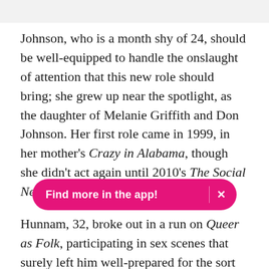Johnson, who is a month shy of 24, should be well-equipped to handle the onslaught of attention that this new role should bring; she grew up near the spotlight, as the daughter of Melanie Griffith and Don Johnson. Her first role came in 1999, in her mother's Crazy in Alabama, though she didn't act again until 2010's The Social Network.
Hunnam, 32, broke out in a run on Queer as Folk, participating in sex scenes that surely left him well-prepared for the sort of freaky bondage that is Christian Grey's hallmark. He then transitioned to comedy, as J[Find more in the app!]h roommate in the short-lived Apatow college sitcom Undeclared.